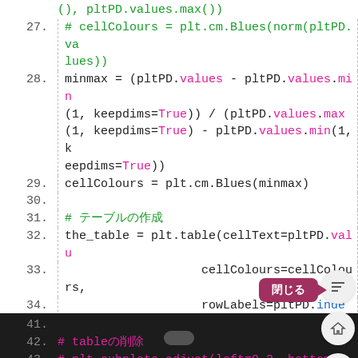Code snippet showing Python matplotlib table coloring code, lines 27-44
27.    # cellColours = plt.cm.Blues(norm(pltPD.values))
28.    minmax = (pltPD.values - pltPD.values.min(1, keepdims=True)) / (pltPD.values.max(1, keepdims=True) - pltPD.values.min(1, keepdims=True))
29.    cellColours = plt.cm.Blues(minmax)
30.
31.    # テーブルの作成
32.    the_table = plt.table(cellText=pltPD.values,
33.                           cellColours=cellColours,
34.                           rowLabels=pltPD.index.values,
35.                           rowColours=colors, # 左端の列
36.                           colLabels=pltPD.columns.values,
37.                           loc='bottom',
38.                           cellLoc='center')
39.    the_table.set_fontsize(14)
40.    the_table.scale(1.0, 7)    # may help
41.
42.    # tableの削除
43.    # plt.subplots_adjust(left=0.2, bottom=0.1)
44.